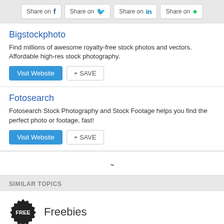[Figure (other): Social share buttons: Share on Facebook, Share on Twitter, Share on LinkedIn, Share on WhatsApp]
Bigstockphoto
Find millions of awesome royalty-free stock photos and vectors. Affordable high-res stock photography.
Fotosearch
Fotosearch Stock Photography and Stock Footage helps you find the perfect photo or footage, fast!
SIMILAR TOPICS
Freebies
Canva
Canva makes design simple for everyone.